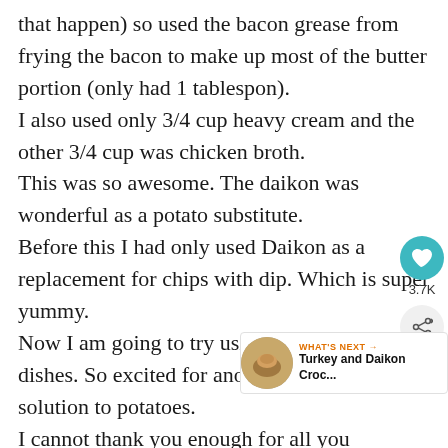that happen) so used the bacon grease from frying the bacon to make up most of the butter portion (only had 1 tablespon).
I also used only 3/4 cup heavy cream and the other 3/4 cup was chicken broth.
This was so awesome. The daikon was wonderful as a potato substitute.
Before this I had only used Daikon as a replacement for chips with dip. Which is super yummy.
Now I am going to try using Daikon in other dishes. So excited for another great LC solution to potatoes.
I cannot thank you enough for all you
[Figure (infographic): Heart/like button widget with teal circle containing heart icon and count 3.7K, plus a share button below]
[Figure (infographic): What's Next widget showing a circular thumbnail image of Turkey and Daikon Croc... recipe with orange arrow label]